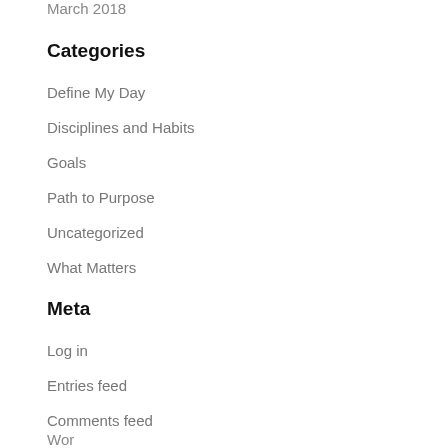March 2018
Categories
Define My Day
Disciplines and Habits
Goals
Path to Purpose
Uncategorized
What Matters
Meta
Log in
Entries feed
Comments feed
WordPress.org